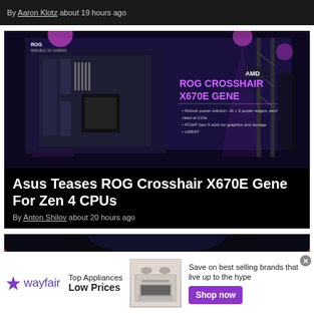By Aaron Klotz about 19 hours ago
[Figure (photo): Photo of ROG Crosshair X670E Gene motherboard displayed at a presentation event with purple stage lighting and AMD branding visible on screen]
Asus Teases ROG Crosshair X670E Gene For Zen 4 CPUs
By Anton Shilov about 20 hours ago
[Figure (photo): Partial view of a second article's header image with dark atmospheric lighting with orange/red accent lights]
[Figure (infographic): Wayfair advertisement banner: Top Appliances Low Prices, Save on best selling brands that live up to the hype, Shop now button]